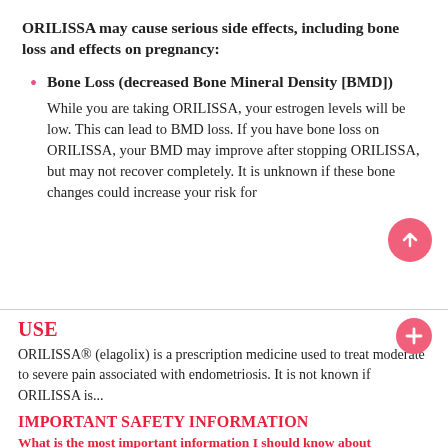ORILISSA may cause serious side effects, including bone loss and effects on pregnancy:
Bone Loss (decreased Bone Mineral Density [BMD]) While you are taking ORILISSA, your estrogen levels will be low. This can lead to BMD loss. If you have bone loss on ORILISSA, your BMD may improve after stopping ORILISSA, but may not recover completely. It is unknown if these bone changes could increase your risk for
USE
ORILISSA® (elagolix) is a prescription medicine used to treat moderate to severe pain associated with endometriosis. It is not known if ORILISSA is...
IMPORTANT SAFETY INFORMATION
What is the most important information I should know about ORILISSA?
ORILISSA may cause serious side effects, including bone loss and effects on pregnancy: